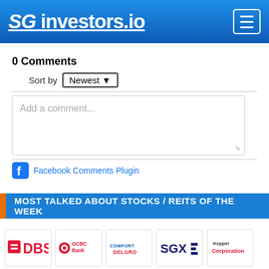SG investors.io
0 Comments
Sort by Newest
Add a comment...
Facebook Comments Plugin
MOST TALKED ABOUT STOCKS / REITS OF THE WEEK
[Figure (logo): DBS bank logo]
[Figure (logo): OCBC Bank logo]
[Figure (logo): ComfortDelgro logo]
[Figure (logo): SGX logo]
[Figure (logo): Keppel Corporation logo]